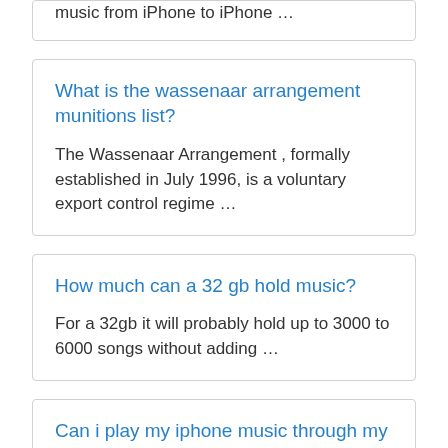music from iPhone to iPhone …
What is the wassenaar arrangement munitions list?
The Wassenaar Arrangement , formally established in July 1996, is a voluntary export control regime …
How much can a 32 gb hold music?
For a 32gb it will probably hold up to 3000 to 6000 songs without adding …
Can i play my iphone music through my car speakers?
To do so, simply connect a 3.5 mm auxiliary cord from